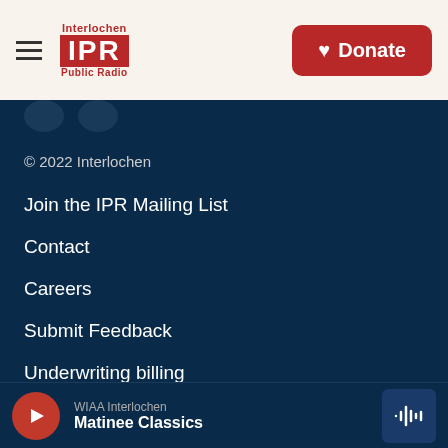Interlochen IPR Public Radio | Donate
© 2022 Interlochen
Join the IPR Mailing List
Contact
Careers
Submit Feedback
Underwriting billing
Mission & history
Community Advisory Council
WIAA Interlochen — Matinee Classics